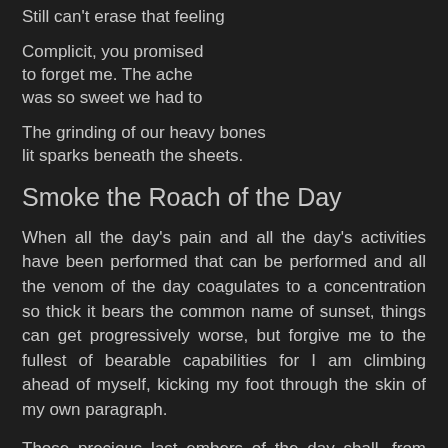Still can't erase that feeling
Complicit, you promised
to forget me. The ache
was so sweet we had to
The grinding of our heavy bones
lit sparks beneath the sheets.
Smoke the Roach of the Day
When all the day's pain and all the day's activities have been performed that can be performed and all the venom of the day coagulates to a concentration so thick it bears the common name of sunset, things can get progressively worse, but forgive me to the fullest of bearable capabilities for I am climbing ahead of myself, kicking my foot through the skin of my own paragraph.
Those precious last embers of the day shall, from here on, be referred to as the roach of the day. Once the teeth of itineraries have been plucked with iron tongs and the blood-